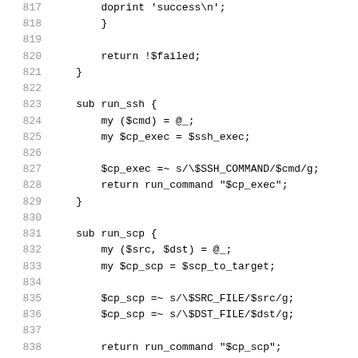817    doprint 'success\n';
818        }
819
820        return !$failed;
821    }
822
823    sub run_ssh {
824        my ($cmd) = @_;
825        my $cp_exec = $ssh_exec;
826
827        $cp_exec =~ s/\$SSH_COMMAND/$cmd/g;
828        return run_command "$cp_exec";
829    }
830
831    sub run_scp {
832        my ($src, $dst) = @_;
833        my $cp_scp = $scp_to_target;
834
835        $cp_scp =~ s/\$SRC_FILE/$src/g;
836        $cp_scp =~ s/\$DST_FILE/$dst/g;
837
838        return run_command "$cp_scp";